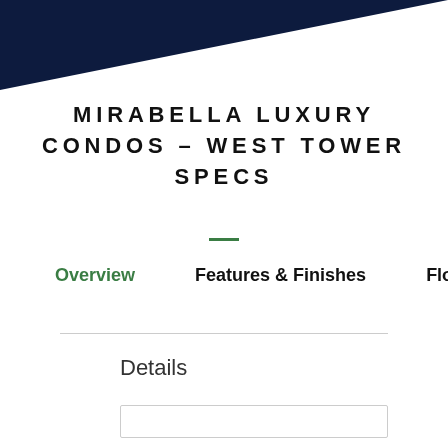[Figure (illustration): Dark navy blue diagonal triangle graphic in upper left corner forming a decorative header shape]
MIRABELLA LUXURY CONDOS – WEST TOWER SPECS
Overview   Features & Finishes   Floor Plans
Details